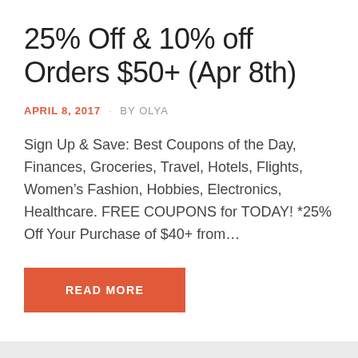25% Off & 10% off Orders $50+ (Apr 8th)
APRIL 8, 2017 · BY OLYA
Sign Up & Save: Best Coupons of the Day, Finances, Groceries, Travel, Hotels, Flights, Women's Fashion, Hobbies, Electronics, Healthcare. FREE COUPONS for TODAY! *25% Off Your Purchase of $40+ from...
READ MORE